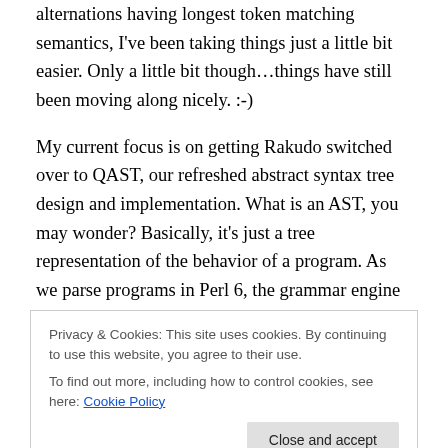alternations having longest token matching semantics, I've been taking things just a little bit easier. Only a little bit though…things have still been moving along nicely. :-)
My current focus is on getting Rakudo switched over to QAST, our refreshed abstract syntax tree design and implementation. What is an AST, you may wonder? Basically, it's just a tree representation of the behavior of a program. As we parse programs in Perl 6, the grammar engine builds a parse tree. This is very tied to the syntax of the program, whereas an AST is all about semantics. A
Privacy & Cookies: This site uses cookies. By continuing to use this website, you agree to their use.
To find out more, including how to control cookies, see here: Cookie Policy
the declarative bits are serialized; the AST, on the other